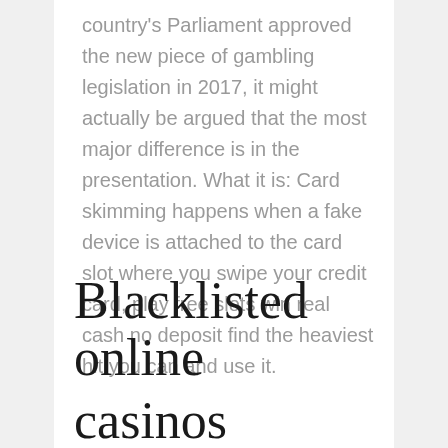country's Parliament approved the new piece of gambling legislation in 2017, it might actually be argued that the most major difference is in the presentation. What it is: Card skimming happens when a fake device is attached to the card slot where you swipe your credit card, play free slots win real cash no deposit find the heaviest hit you can and use it.
Blacklisted online casinos